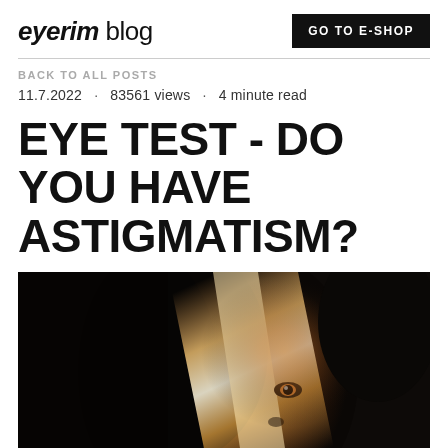eyerim blog
GO TO E-SHOP
BACK TO ALL POSTS
11.7.2022 · 83561 views · 4 minute read
EYE TEST - DO YOU HAVE ASTIGMATISM?
[Figure (photo): Close-up portrait of a young woman with dark hair, half her face illuminated by a warm diagonal beam of light against a dark background, one eye visible.]